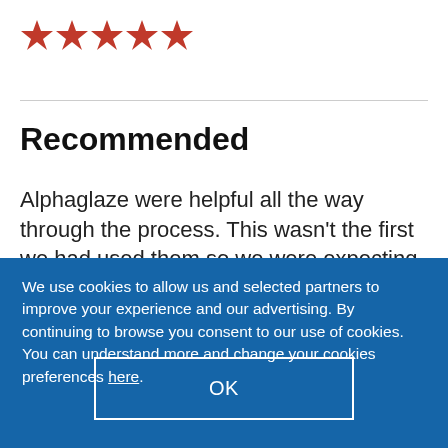[Figure (other): Five red star rating icons]
Recommended
Alphaglaze were helpful all the way through the process. This wasn't the first we had used them so we were expecting a good job and that's what we got. There was the odd hiccup along
We use cookies to allow us and selected partners to improve your experience and our advertising. By continuing to browse you consent to our use of cookies. You can understand more and change your cookies preferences here.
OK